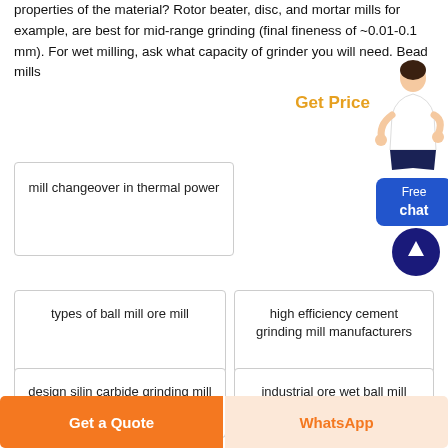properties of the material? Rotor beater, disc, and mortar mills for example, are best for mid-range grinding (final fineness of ~0.01-0.1 mm). For wet milling, ask what capacity of grinder you will need. Bead mills
Get Price
[Figure (illustration): Person (customer service representative) figure with Free chat button]
mill changeover in thermal power
[Figure (other): Scroll to top arrow button circle]
types of ball mill ore mill
high efficiency cement grinding mill manufacturers
design silin carbide grinding mill
industrial ore wet ball mill
Get a Quote
WhatsApp